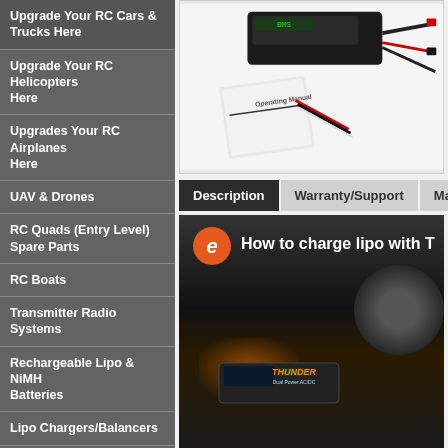Upgrade Your RC Cars & Trucks Here
Upgrade Your RC Helicopters Here
Upgrades Your RC Airplanes Here
UAV & Drones
RC Quads (Entry Level) Spare Parts
RC Boats
Transmitter Radio Systems
Rechargeable Lipo & NiMH Batteries
Lipo Chargers/Balancers
Brushless Motors & ESCs
ESC
Servos
Gyros
[Figure (photo): Product photo showing a battery charger/balancer with operating manual, cables and accessories on white background]
Description | Warranty/Support | Manual
[Figure (screenshot): Video thumbnail showing 'How to charge lipo with T...' title with orange 'e' logo circle, showing a THUNDER Dual Power AC/DC charger with wheel/tire in background]